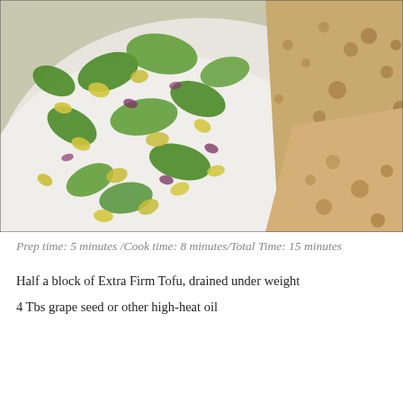[Figure (photo): A white plate with tofu scramble containing crumbled firm tofu with turmeric, green bell peppers, and red onion, served alongside triangular slices of toasted English muffin or sourdough bread.]
Prep time: 5 minutes /Cook time: 8 minutes/Total Time: 15 minutes
Half a block of Extra Firm Tofu, drained under weight
4 Tbs grape seed or other high-heat oil